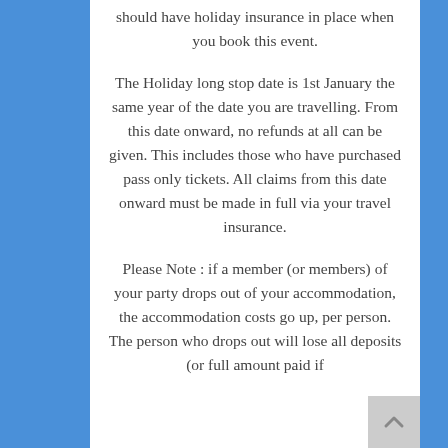should have holiday insurance in place when you book this event.
The Holiday long stop date is 1st January the same year of the date you are travelling. From this date onward, no refunds at all can be given. This includes those who have purchased pass only tickets. All claims from this date onward must be made in full via your travel insurance.
Please Note : if a member (or members) of your party drops out of your accommodation, the accommodation costs go up, per person. The person who drops out will lose all deposits (or full amount paid if the next deduction has already been...